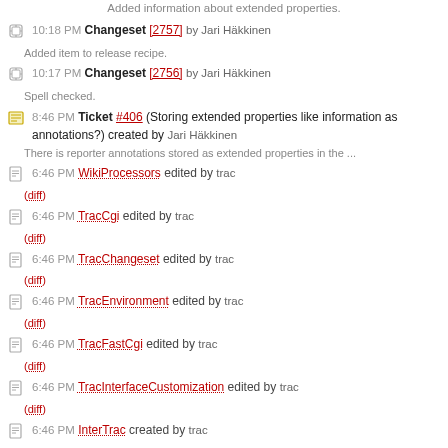Added information about extended properties.
10:18 PM Changeset [2757] by Jari Häkkinen
Added item to release recipe.
10:17 PM Changeset [2756] by Jari Häkkinen
Spell checked.
8:46 PM Ticket #406 (Storing extended properties like information as annotations?) created by Jari Häkkinen
There is reporter annotations stored as extended properties in the ...
6:46 PM WikiProcessors edited by trac
(diff)
6:46 PM TracCgi edited by trac
(diff)
6:46 PM TracChangeset edited by trac
(diff)
6:46 PM TracEnvironment edited by trac
(diff)
6:46 PM TracFastCgi edited by trac
(diff)
6:46 PM TracInterfaceCustomization edited by trac
(diff)
6:46 PM InterTrac created by trac
6:46 PM TracSupport edited by trac